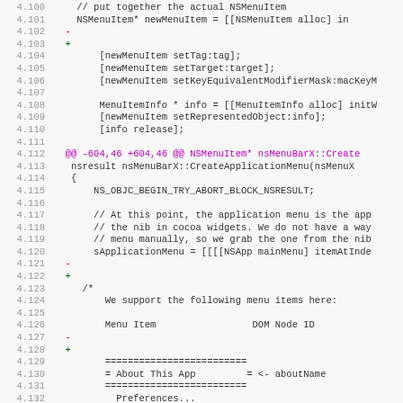[Figure (screenshot): Code diff viewer showing Objective-C source code lines 4.100 through 4.132, with line numbers on left, diff markers (+ and -) in green and red, and a purple @@ hunk header. Code shows NSMenuItem creation, MenuItemInfo setup, and CreateApplicationMenu function with comments about application menu handling.]